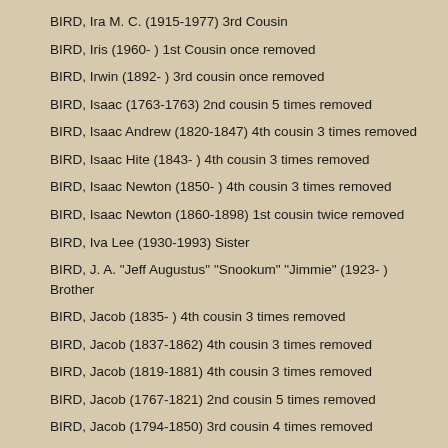BIRD, Ira M. C. (1915-1977) 3rd Cousin
BIRD, Iris (1960- ) 1st Cousin once removed
BIRD, Irwin (1892- ) 3rd cousin once removed
BIRD, Isaac (1763-1763) 2nd cousin 5 times removed
BIRD, Isaac Andrew (1820-1847) 4th cousin 3 times removed
BIRD, Isaac Hite (1843- ) 4th cousin 3 times removed
BIRD, Isaac Newton (1850- ) 4th cousin 3 times removed
BIRD, Isaac Newton (1860-1898) 1st cousin twice removed
BIRD, Iva Lee (1930-1993) Sister
BIRD, J. A. "Jeff Augustus" "Snookum" "Jimmie" (1923- ) Brother
BIRD, Jacob (1835- ) 4th cousin 3 times removed
BIRD, Jacob (1837-1862) 4th cousin 3 times removed
BIRD, Jacob (1819-1881) 4th cousin 3 times removed
BIRD, Jacob (1767-1821) 2nd cousin 5 times removed
BIRD, Jacob (1794-1850) 3rd cousin 4 times removed
BIRD, Jaime Rolland (1949- ) Nephew